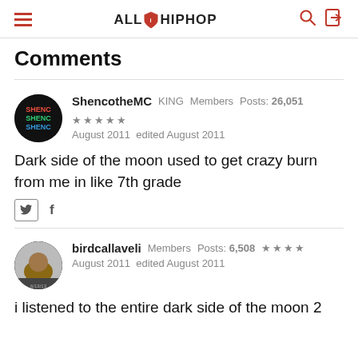AllHipHop
Comments
ShencotheMC KING Members Posts: 26,051 ★★★★★ August 2011 edited August 2011
Dark side of the moon used to get crazy burn from me in like 7th grade
birdcallaveli Members Posts: 6,508 ★★★★ August 2011 edited August 2011
i listened to the entire dark side of the moon 2